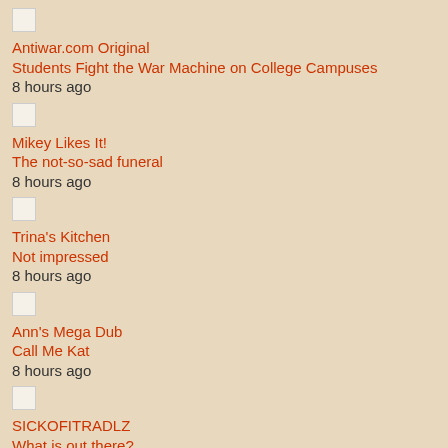Antiwar.com Original
Students Fight the War Machine on College Campuses
8 hours ago
Mikey Likes It!
The not-so-sad funeral
8 hours ago
Trina's Kitchen
Not impressed
8 hours ago
Ann's Mega Dub
Call Me Kat
8 hours ago
SICKOFITRADLZ
What is out there?